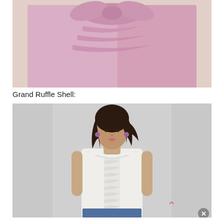[Figure (photo): Close-up of a pink satin blouse with large bow/ruffle detail at the neckline, displayed on a beige background.]
Grand Ruffle Shell:
[Figure (photo): A woman with dark hair wearing a white sleeveless ruffle-front shell top and jeans, photographed against a light grey background. A pink upward chevron arrow and close/X button are visible.]